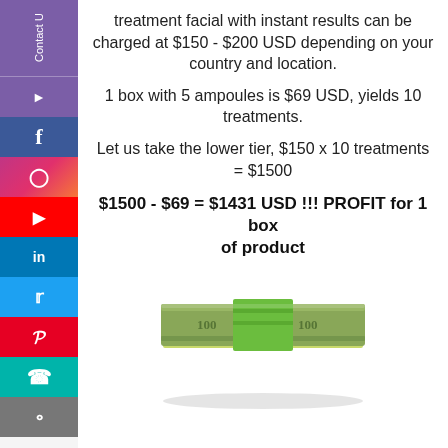treatment facial with instant results can be charged at $150 - $200 USD depending on your country and location.
1 box with 5 ampoules is $69 USD, yields 10 treatments.
Let us take the lower tier, $150 x 10 treatments = $1500
$1500 - $69 = $1431 USD !!! PROFIT for 1 box of product
[Figure (illustration): Stack of US dollar bills with green band wrapper]